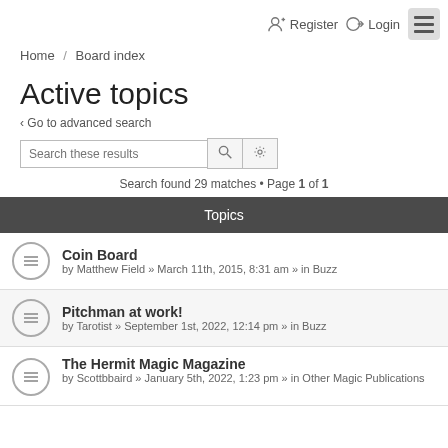Register   Login
Home / Board index
Active topics
‹ Go to advanced search
Search these results
Search found 29 matches • Page 1 of 1
Topics
Coin Board
by Matthew Field » March 11th, 2015, 8:31 am » in Buzz
Pitchman at work!
by Tarotist » September 1st, 2022, 12:14 pm » in Buzz
The Hermit Magic Magazine
by Scottbbaird » January 5th, 2022, 1:23 pm » in Other Magic Publications